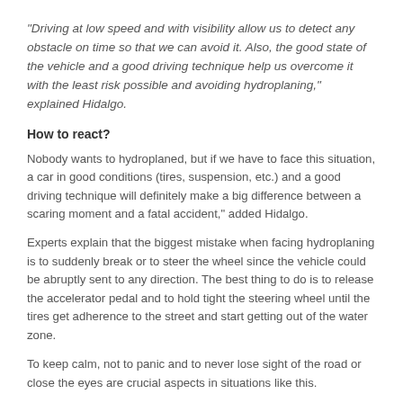“Driving at low speed and with visibility allow us to detect any obstacle on time so that we can avoid it. Also, the good state of the vehicle and a good driving technique help us overcome it with the least risk possible and avoiding hydroplaning,” explained Hidalgo.
How to react?
Nobody wants to hydroplaned, but if we have to face this situation, a car in good conditions (tires, suspension, etc.) and a good driving technique will definitely make a big difference between a scaring moment and a fatal accident,” added Hidalgo.
Experts explain that the biggest mistake when facing hydroplaning is to suddenly break or to steer the wheel since the vehicle could be abruptly sent to any direction. The best thing to do is to release the accelerator pedal and to hold tight the steering wheel until the tires get adherence to the street and start getting out of the water zone.
To keep calm, not to panic and to never lose sight of the road or close the eyes are crucial aspects in situations like this.
Due to the importance that the drivers and their vehicles are